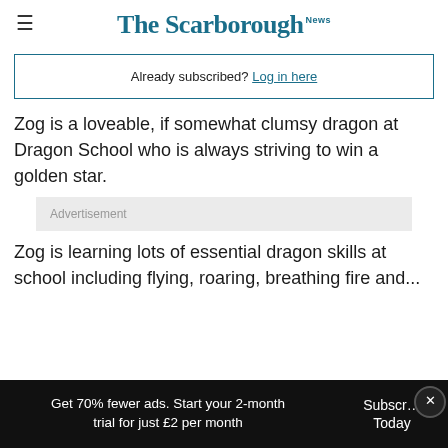The Scarborough News
Already subscribed? Log in here
Zog is a loveable, if somewhat clumsy dragon at Dragon School who is always striving to win a golden star.
[Figure (other): Advertisement placeholder box]
Zog is learning lots of essential dragon skills at school including flying, roaring, breathing fire and...
Get 70% fewer ads. Start your 2-month trial for just £2 per month  Subscribe Today